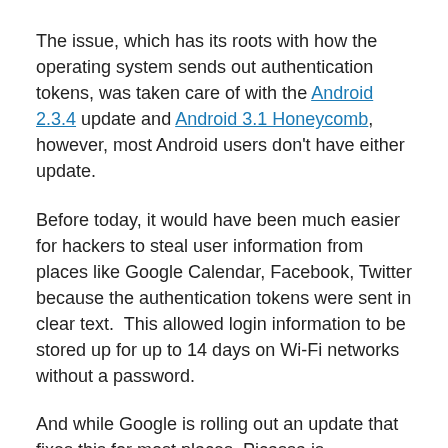The issue, which has its roots with how the operating system sends out authentication tokens, was taken care of with the Android 2.3.4 update and Android 3.1 Honeycomb, however, most Android users don't have either update.
Before today, it would have been much easier for hackers to steal user information from places like Google Calendar, Facebook, Twitter because the authentication tokens were sent in clear text.  This allowed login information to be stored up for up to 14 days on Wi-Fi networks without a password.
And while Google is rolling out an update that fixes this for most places, Picassa is unfortunately still vulnerable as the company is still trying to figure out how to address the photo sharing service.